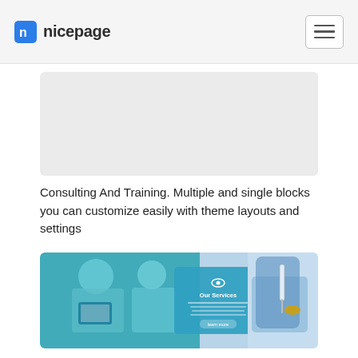nicepage
[Figure (illustration): Gray placeholder rectangle for a card image (top of page, partially cropped)]
Consulting And Training. Multiple and single blocks you can customize easily with theme layouts and settings
[Figure (photo): Medical/health themed banner showing doctors in surgical masks with a blue overlay and 'Our Services' text panel, alongside a syringe/injection image]
Health And Wellness. Page builder plugins for WordPress, most popular content management systems like Gutenberg...
[Figure (illustration): Gray placeholder rectangle for another card image (bottom, partially cropped)]